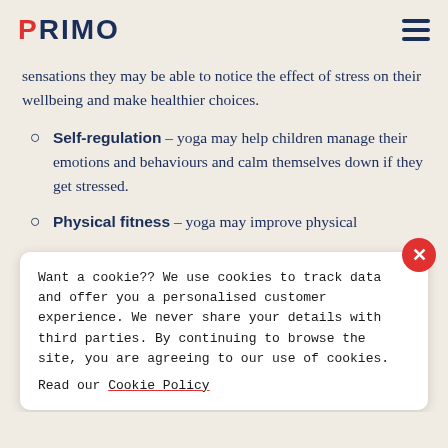PRIMO
sensations they may be able to notice the effect of stress on their wellbeing and make healthier choices.
Self-regulation – yoga may help children manage their emotions and behaviours and calm themselves down if they get stressed.
Physical fitness – yoga may improve physical
Want a cookie?? We use cookies to track data and offer you a personalised customer experience. We never share your details with third parties. By continuing to browse the site, you are agreeing to our use of cookies. Read our Cookie Policy